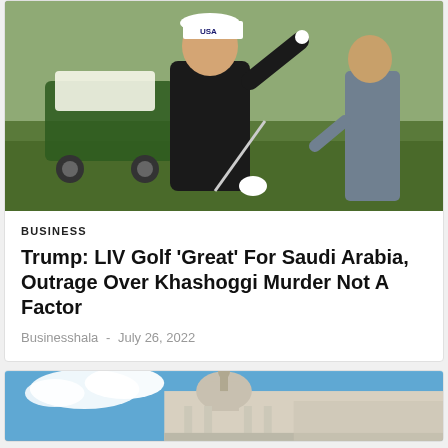[Figure (photo): Man in black jacket and USA cap waving while holding a golf club on a golf course, with a green golf cart visible in the background and another person walking nearby.]
BUSINESS
Trump: LIV Golf 'Great' For Saudi Arabia, Outrage Over Khashoggi Murder Not A Factor
Businesshala - July 26, 2022
[Figure (photo): Partial view of a government building with a dome and statue against a blue sky with clouds.]